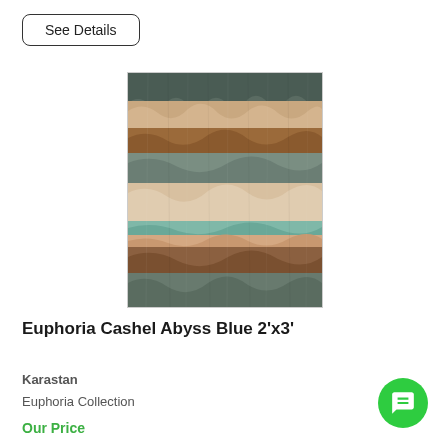See Details
[Figure (photo): Euphoria Cashel Abyss Blue rug showing horizontal bands of teal/grey, beige, tan, and brown in an abstract watercolor pattern]
Euphoria Cashel Abyss Blue 2'x3'
Karastan
Euphoria Collection
Our Price